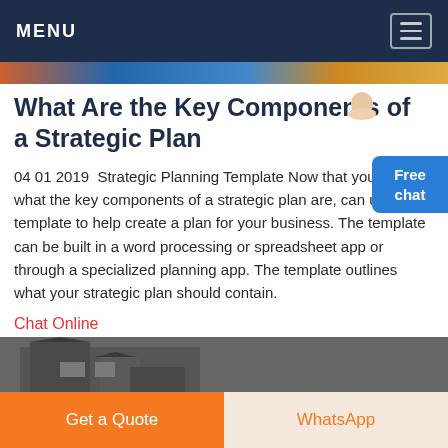MENU
What Are the Key Components of a Strategic Plan
04 01 2019  Strategic Planning Template Now that you know what the key components of a strategic plan are, can use a template to help create a plan for your business. The template can be built in a word processing or spreadsheet app or through a specialized planning app. The template outlines what your strategic plan should contain.
Chat Online
[Figure (photo): Partial view of a building exterior with stone facade]
Get a Quote
WhatsApp